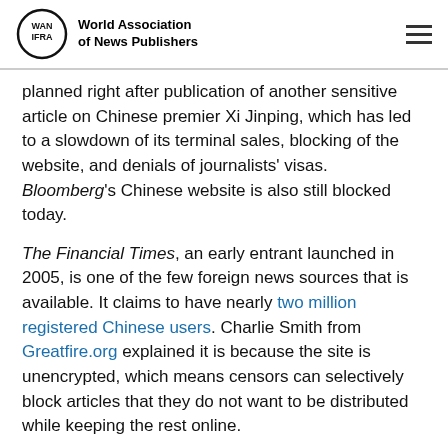World Association of News Publishers
planned right after publication of another sensitive article on Chinese premier Xi Jinping, which has led to a slowdown of its terminal sales, blocking of the website, and denials of journalists' visas. Bloomberg's Chinese website is also still blocked today.
The Financial Times, an early entrant launched in 2005, is one of the few foreign news sources that is available. It claims to have nearly two million registered Chinese users. Charlie Smith from Greatfire.org explained it is because the site is unencrypted, which means censors can selectively block articles that they do not want to be distributed while keeping the rest online.
The importance of brand awareness in China